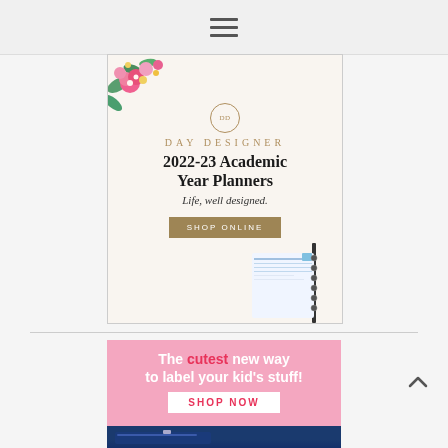Navigation menu (hamburger icon)
[Figure (illustration): Day Designer advertisement: cream background with floral corner decoration top-left and spiral planner bottom-right. Contains logo circle, brand name 'DAY DESIGNER', title '2022-23 Academic Year Planners', tagline 'Life, well designed.', and a tan 'SHOP ONLINE' button.]
[Figure (illustration): Pink advertisement banner: 'The cutest new way to label your kid's stuff!' with white 'SHOP NOW' button on white bar. Bottom shows blue notebook/item strip.]